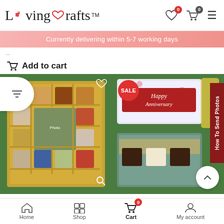[Figure (screenshot): LivingCrafts e-commerce website header with logo, wishlist icon (0), cart icon (0), and hamburger menu]
Currently delivering within 5-7 working days
..
Add to cart
[Figure (photo): Box Of Happiness - personalized chocolate gift box with photo prints on chocolates, SALE badge, heart and search icons]
[Figure (photo): Pinata Chocolate Gift Box - Happy Anniversary gift box with chocolates inside, SALE badge]
Box Of Happiness
Pinata Chocolate Gift Box
[Figure (screenshot): Bottom navigation bar with Home, Shop, Cart (badge 0), My account icons]